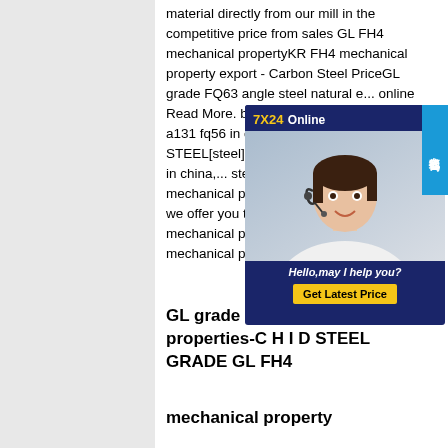material directly from our mill in the competitive price from sales GL FH4 mechanical propertyKR FH4 mechanical property export - Carbon Steel PriceGL grade FQ63 angle steel natural e... online Read More. best quote kr d[plate]buy astm a131 fq56 in chin...Design Voorhout STEEL[steel]Be... astm a131 eq51 service in china,... steel astm a131 aq63 mechanical property in china. we promise we offer you the qualified astm a131 mechanical property in china at th... FH4 mechanical property
[Figure (other): Live chat widget overlay showing a customer service representative with headset. Header reads '7X24 Online', body shows agent photo, text 'Hello,may I help you?' and a yellow 'Get Latest Price' button. Side tab in blue reads '在线咨询' (Online Consultation).]
GL grade EQ63 mechanical properties-C H I D STEEL GRADE GL FH4
mechanical property